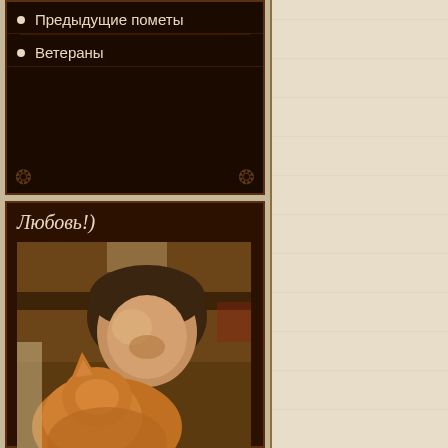Предыдущие пометы
Ветераны
Любовь!)
[Figure (photo): A person leaning down close to a cat (likely a Yorkshire terrier), photographed from above showing the person's dark hair and the cat's orange/tan fur.]